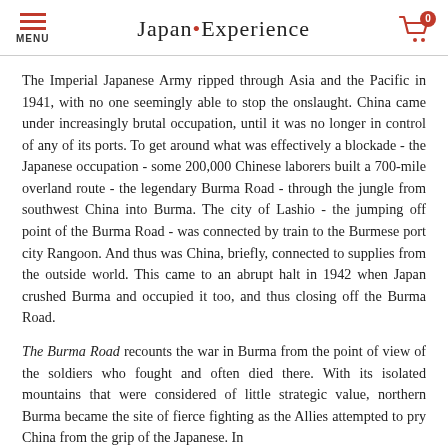MENU | Japan • Experience | 0
The Imperial Japanese Army ripped through Asia and the Pacific in 1941, with no one seemingly able to stop the onslaught. China came under increasingly brutal occupation, until it was no longer in control of any of its ports. To get around what was effectively a blockade - the Japanese occupation - some 200,000 Chinese laborers built a 700-mile overland route - the legendary Burma Road - through the jungle from southwest China into Burma. The city of Lashio - the jumping off point of the Burma Road - was connected by train to the Burmese port city Rangoon. And thus was China, briefly, connected to supplies from the outside world. This came to an abrupt halt in 1942 when Japan crushed Burma and occupied it too, and thus closing off the Burma Road.
The Burma Road recounts the war in Burma from the point of view of the soldiers who fought and often died there. With its isolated mountains that were considered of little strategic value, northern Burma became the site of fierce fighting as the Allies attempted to pry China from the grip of the Japanese. In